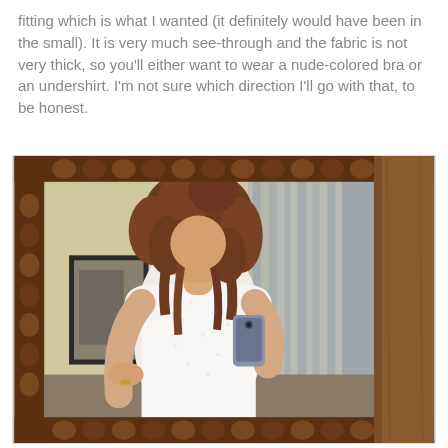fitting which is what I wanted (it definitely would have been in the small). It is very much see-through and the fabric is not very thick, so you'll either want to wear a nude-colored bra or an undershirt. I'm not sure which direction I'll go with that, to be honest.
[Figure (photo): Mirror selfie photo of a person with curly reddish-brown hair wearing a white eyelet short-sleeve top, taking photo with a gray smartphone. The mirror has an ornate dark brown wooden frame. The room background shows a yellow wall, a framed picture, and gray curtains.]